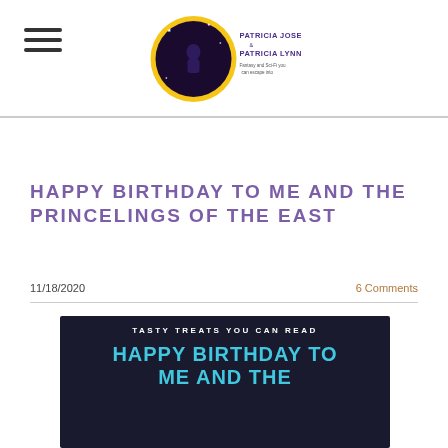[Figure (logo): Patricia Josephine & Patricia Lynne author logo: circular yellow moon with illustrated figure, text 'Fantasy and Sci-Fi you can escape into']
HAPPY BIRTHDAY TO ME AND THE PRINCELINGS OF THE EAST
11/18/2020
6 Comments
[Figure (illustration): Dark banner image with white text 'TASTY TREATS YOU CAN READ' and large cyan text 'HAPPY BIRTHDAY TO ME AND THE']